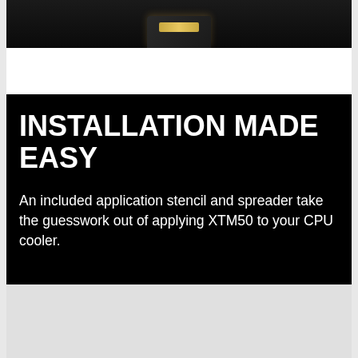[Figure (photo): Partial view of a product (likely thermal paste container) against a black background, cropped at the top]
[Figure (infographic): Black background panel with large white bold text reading 'INSTALLATION MADE EASY' and body text 'An included application stencil and spreader take the guesswork out of applying XTM50 to your CPU cooler.']
[Figure (photo): Partially visible light gray image at the bottom of the page, content not fully visible]